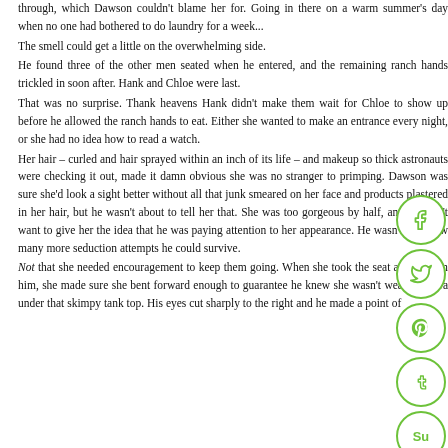through, which Dawson couldn't blame her for. Going in there on a warm summer's day when no one had bothered to do laundry for a week...
The smell could get a little on the overwhelming side.
He found three of the other men seated when he entered, and the remaining ranch hands trickled in soon after. Hank and Chloe were last.
That was no surprise. Thank heavens Hank didn't make them wait for Chloe to show up before he allowed the ranch hands to eat. Either she wanted to make an entrance every night, or she had no idea how to read a watch.
Her hair – curled and hair sprayed within an inch of its life – and makeup so thick astronauts were checking it out, made it damn obvious she was no stranger to primping. Dawson was sure she'd look a sight better without all that junk smeared on her face and products plastered in her hair, but he wasn't about to tell her that. She was too gorgeous by half, and he didn't want to give her the idea that he was paying attention to her appearance. He wasn't sure how many more seduction attempts he could survive.
Not that she needed encouragement to keep them going. When she took the seat across from him, she made sure she bent forward enough to guarantee he knew she wasn't wearing a bra under that skimpy tank top. His eyes cut sharply to the right and he made a point of